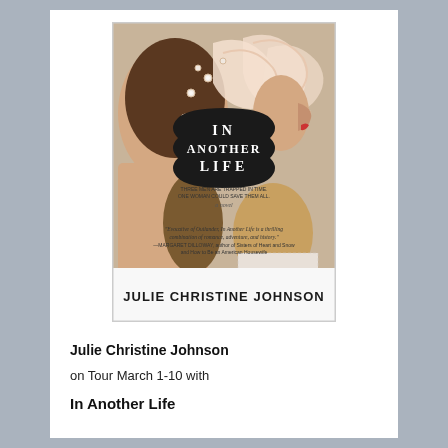[Figure (illustration): Book cover of 'In Another Life' by Julie Christine Johnson. Shows a woman's profile with ornate decorative swirls and pearls. A dark badge in the center reads 'IN ANOTHER LIFE'. Subtitle text reads 'Three men are trapped in time. One woman could save them all. a novel'. A quote from Margaret Dilloway is shown at the bottom. Author name 'JULIE CHRISTINE JOHNSON' appears at the bottom.]
Julie Christine Johnson
on Tour March 1-10 with
In Another Life